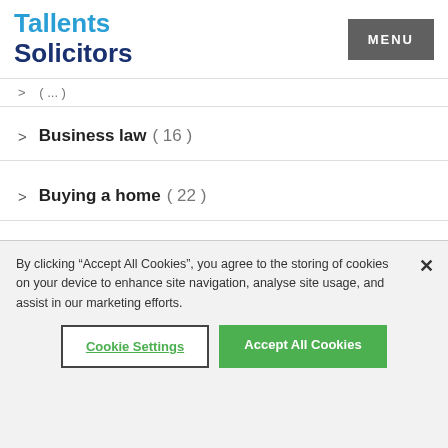[Figure (logo): Tallents Solicitors logo with blue text]
Business law ( 16 )
Buying a home ( 22 )
Children law ( 15 )
Commercial law ( 46 )
By clicking “Accept All Cookies”, you agree to the storing of cookies on your device to enhance site navigation, analyse site usage, and assist in our marketing efforts.
Cookie Settings
Accept All Cookies